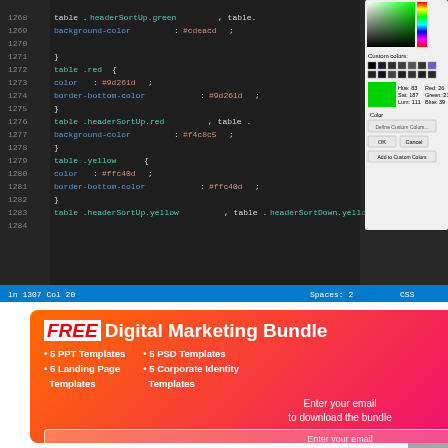[Figure (screenshot): Screenshot of a code editor showing CSS code with colored class definitions for red and yellow table headers, overlaid with a color picker dialog showing HSL/RGB values for a green color.]
[Figure (screenshot): Popup overlay showing 'FREE Digital Marketing Bundle' advertisement on an orange-to-red gradient background with a white X close button, listing: 5 PPT Templates, 5 PSD Templates, 5 Landing Page Templates, 5 Corporate Identity Templates. Contains prompt 'Enter your email to download the bundle' with an email input field and 'Get Bundle' button. Behind the popup is partial text reading 'cker available in' and 'rtcut.' and a partial screenshot of a social media interface.]